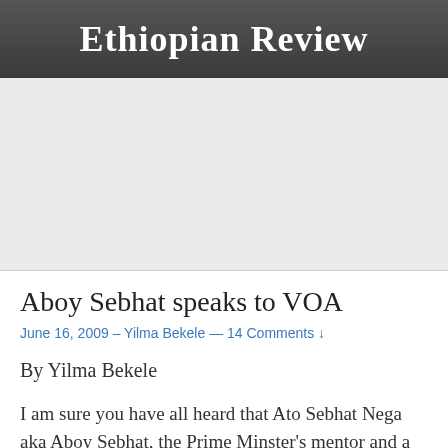Ethiopian Review
Aboy Sebhat speaks to VOA
June 16, 2009 – Yilma Bekele — 14 Comments ↓
By Yilma Bekele
I am sure you have all heard that Ato Sebhat Nega aka Aboy Sebhat, the Prime Minster's mentor and a very high official of the ruling TPLF party was a guest on Voice of America. I was very glad. We are always happy when TPLF officials submit to unrehearsed interviews. It seems that it is the only